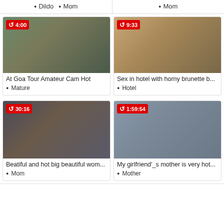● Dildo  ● Mom
● Mom
[Figure (photo): Video thumbnail: At Goa Tour Amateur Cam Hot, duration 4:00]
At Goa Tour Amateur Cam Hot
● Mature
[Figure (photo): Video thumbnail: Sex in hotel with horny brunette b..., duration 9:33]
Sex in hotel with horny brunette b...
● Hotel
[Figure (photo): Video thumbnail: Beatiful and hot big beautiful wom..., duration 30:16]
Beatiful and hot big beautiful wom...
● Mom
[Figure (photo): Video thumbnail: My girlfriend'_s mother is very hot..., duration 1:59:54]
My girlfriend'_s mother is very hot...
● Mother